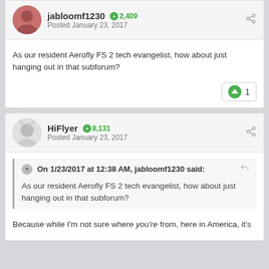jabloomf1230 · 2,409 · Posted January 23, 2017
As our resident Aerofly FS 2 tech evangelist, how about just hanging out in that subforum?
HiFlyer · 8,131 · Posted January 23, 2017
On 1/23/2017 at 12:38 AM, jabloomf1230 said:
As our resident Aerofly FS 2 tech evangelist, how about just hanging out in that subforum?
Because while I'm not sure where you're from, here in America, it's